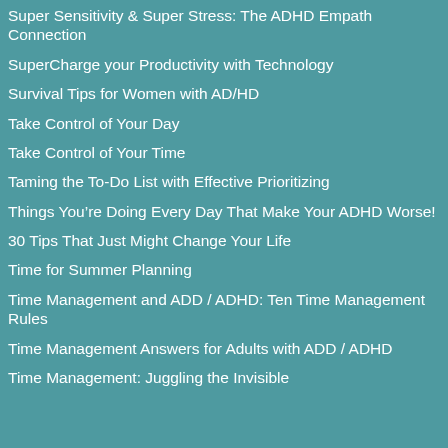Super Sensitivity & Super Stress: The ADHD Empath Connection
SuperCharge your Productivity with Technology
Survival Tips for Women with AD/HD
Take Control of Your Day
Take Control of Your Time
Taming the To-Do List with Effective Prioritizing
Things You're Doing Every Day That Make Your ADHD Worse!
30 Tips That Just Might Change Your Life
Time for Summer Planning
Time Management and ADD / ADHD: Ten Time Management Rules
Time Management Answers for Adults with ADD / ADHD
Time Management: Juggling the Invisible